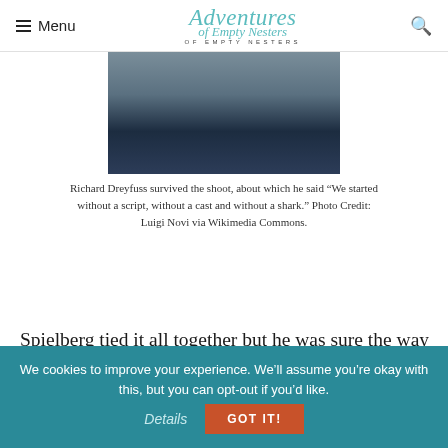Menu | Adventures of Empty Nesters
[Figure (photo): Partial photo of Richard Dreyfuss wearing a dark jacket over a grey shirt, cropped to show chest and chin area]
Richard Dreyfuss survived the shoot, about which he said “We started without a script, without a cast and without a shark.” Photo Credit: Luigi Novi via Wikimedia Commons.
Spielberg tied it all together but he was sure the way he handled the budget and the shooting scheduled doomed his chances of ever helming another picture. The exact opposite was true; Jaws announced the arrival of a worthy
We cookies to improve your experience. We’ll assume you’re okay with this, but you can opt-out if you’d like. Details GOT IT!